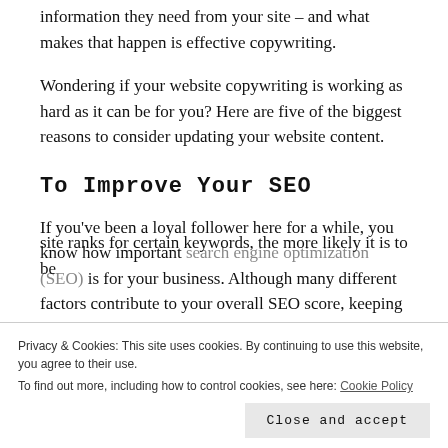information they need from your site – and what makes that happen is effective copywriting.
Wondering if your website copywriting is working as hard as it can be for you? Here are five of the biggest reasons to consider updating your website content.
To Improve Your SEO
If you've been a loyal follower here for a while, you know how important search engine optimization (SEO) is for your business. Although many different factors contribute to your overall SEO score, keeping your content fresh definitely helps.
Privacy & Cookies: This site uses cookies. By continuing to use this website, you agree to their use.
To find out more, including how to control cookies, see here: Cookie Policy
site ranks for certain keywords, the more likely it is to be